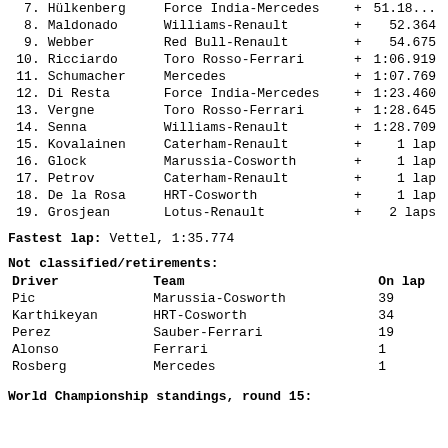| Pos | Driver | Team | +/- | Gap |
| --- | --- | --- | --- | --- |
| 7. | Hülkenberg | Force India-Mercedes | + | 51.18... |
| 8. | Maldonado | Williams-Renault | + | 52.364 |
| 9. | Webber | Red Bull-Renault | + | 54.675 |
| 10. | Ricciardo | Toro Rosso-Ferrari | + | 1:06.919 |
| 11. | Schumacher | Mercedes | + | 1:07.769 |
| 12. | Di Resta | Force India-Mercedes | + | 1:23.460 |
| 13. | Vergne | Toro Rosso-Ferrari | + | 1:28.645 |
| 14. | Senna | Williams-Renault | + | 1:28.709 |
| 15. | Kovalainen | Caterham-Renault | + | 1 lap |
| 16. | Glock | Marussia-Cosworth | + | 1 lap |
| 17. | Petrov | Caterham-Renault | + | 1 lap |
| 18. | De la Rosa | HRT-Cosworth | + | 1 lap |
| 19. | Grosjean | Lotus-Renault | + | 2 laps |
Fastest lap: Vettel, 1:35.774
Not classified/retirements:
| Driver | Team | On lap |
| --- | --- | --- |
| Pic | Marussia-Cosworth | 39 |
| Karthikeyan | HRT-Cosworth | 34 |
| Perez | Sauber-Ferrari | 19 |
| Alonso | Ferrari | 1 |
| Rosberg | Mercedes | 1 |
World Championship standings, round 15: